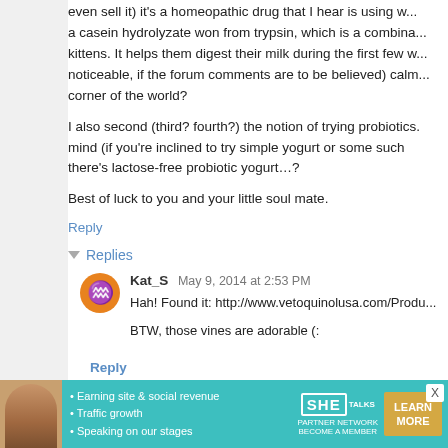...even sell it) it's a homeopathic drug that I hear is using w... a casein hydrolyzate won from trypsin, which is a combina... kittens. It helps them digest their milk during the first few w... noticeable, if the forum comments are to be believed) calm... corner of the world?
I also second (third? fourth?) the notion of trying probiotics... mind (if you're inclined to try simple yogurt or some such... there's lactose-free probiotic yogurt...?
Best of luck to you and your little soul mate.
Reply
Replies
Kat_S May 9, 2014 at 2:53 PM
Hah! Found it: http://www.vetoquinolusa.com/Produ...
BTW, those vines are adorable (:
Reply
Unknown May 9, 2014 at 3:06 PM
• Earning site & social revenue
• Traffic growth
• Speaking on our stages
SHE PARTNER NETWORK BECOME A MEMBER
LEARN MORE